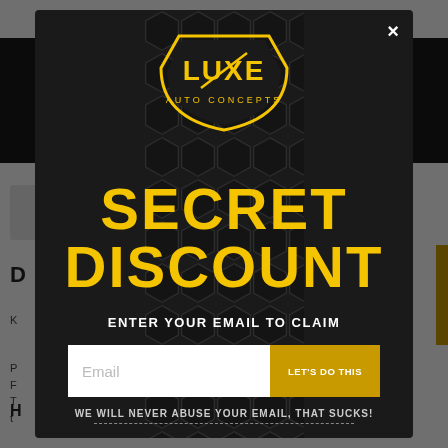[Figure (screenshot): Background website page partially visible behind modal overlay, showing dark navigation bar and white content area with partial text]
[Figure (infographic): Luxe Auto Concepts popup modal with dark hexagon-pattern background. Contains logo at top, 'SECRET DISCOUNT' in large yellow bold text, subtitle 'ENTER YOUR EMAIL TO CLAIM', email input field with yellow 'LET'S DO THIS' button, and footer text 'WE WILL NEVER ABUSE YOUR EMAIL, THAT SUCKS!']